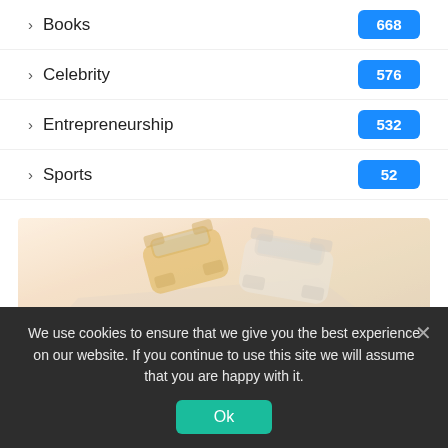Books 668
Celebrity 576
Entrepreneurship 532
Sports 52
[Figure (photo): Faded/watermarked illustration of two cars (a yellow and a white car) on a road, with partial text CAR and GE visible as watermark]
We use cookies to ensure that we give you the best experience on our website. If you continue to use this site we will assume that you are happy with it.